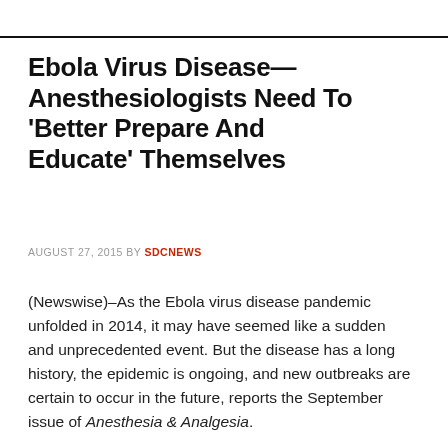Ebola Virus Disease—Anesthesiologists Need To 'Better Prepare And Educate' Themselves
AUGUST 27, 2015 BY SDCNEWS
(Newswise)–As the Ebola virus disease pandemic unfolded in 2014, it may have seemed like a sudden and unprecedented event. But the disease has a long history, the epidemic is ongoing, and new outbreaks are certain to occur in the future, reports the September issue of Anesthesia & Analgesia.